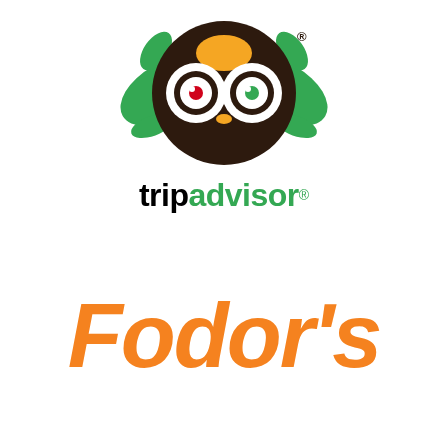[Figure (logo): TripAdvisor logo: green owl head with large round eyes (left eye has red dot, right has green dot), orange forehead, surrounded by green leaf/wing shapes. Below the owl is the word 'tripadvisor' with a registered trademark symbol, where 'trip' is in black bold and 'advisor' is in green bold.]
[Figure (logo): Fodor's logo: the word 'Fodor's' in large bold italic orange text on white background.]